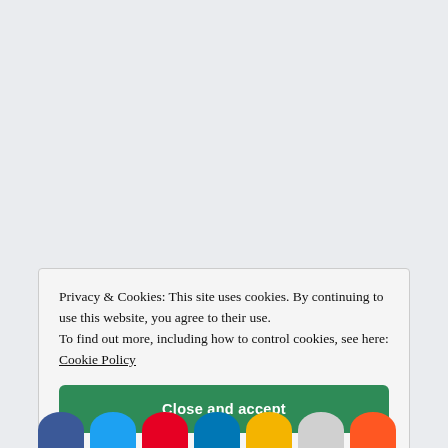Privacy & Cookies: This site uses cookies. By continuing to use this website, you agree to their use.
To find out more, including how to control cookies, see here: Cookie Policy
Close and accept
[Figure (other): Row of social media share buttons (Facebook, Twitter, Pinterest, LinkedIn, Google, and two others) partially visible at the bottom of the page]